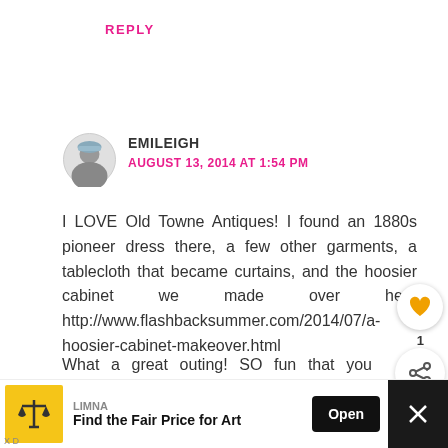REPLY
EMILEIGH
AUGUST 13, 2014 AT 1:54 PM
I LOVE Old Towne Antiques! I found an 1880s pioneer dress there, a few other garments, a tablecloth that became curtains, and the hoosier cabinet we made over here http://www.flashbacksummer.com/2014/07/a-hoosier-cabinet-makeover.html
What a great outing! SO fun that you caught up with another vintage blogger!
WHAT'S NEXT → Lucite Rhinestone...
LIMNA
Find the Fair Price for Art
Open